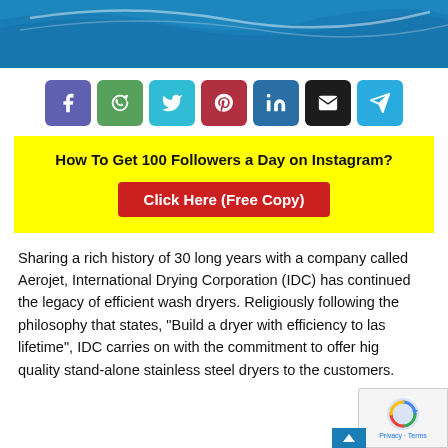[Figure (illustration): Blue banner header with white wave/swoosh design]
[Figure (infographic): Row of 7 social share buttons: Facebook (purple), WhatsApp (green), Twitter (cyan), Pinterest (dark red), LinkedIn (blue), Email (black), Telegram (blue)]
How To Get 100 Followers a Day on Instagram?
Click Here (Free Copy)
Sharing a rich history of 30 long years with a company called Aerojet, International Drying Corporation (IDC) has continued the legacy of efficient wash dryers. Religiously following the philosophy that states, "Build a dryer with efficiency to last a lifetime", IDC carries on with the commitment to offer high quality stand-alone stainless steel dryers to the customers. With